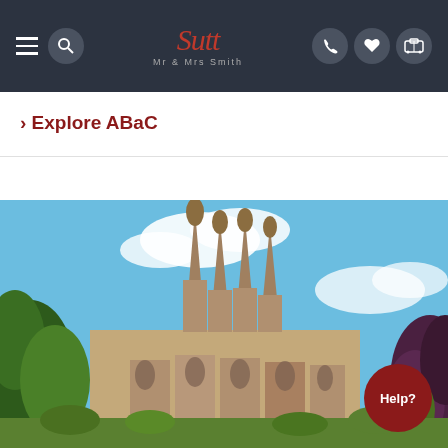Mr & Mrs Smith navigation bar with hamburger menu, search, logo, phone, heart, and luggage icons
› Explore ABaC
[Figure (photo): Photograph of the Sagrada Família basilica in Barcelona, Spain, with ornate Gothic-style spires rising against a blue sky with white clouds, surrounded by green trees and foliage.]
Help?